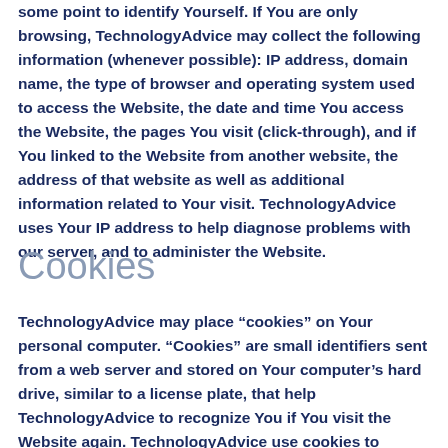some point to identify Yourself. If You are only browsing, TechnologyAdvice may collect the following information (whenever possible): IP address, domain name, the type of browser and operating system used to access the Website, the date and time You access the Website, the pages You visit (click-through), and if You linked to the Website from another website, the address of that website as well as additional information related to Your visit. TechnologyAdvice uses Your IP address to help diagnose problems with our server, and to administer the Website.
Cookies
TechnologyAdvice may place “cookies” on Your personal computer. “Cookies” are small identifiers sent from a web server and stored on Your computer’s hard drive, similar to a license plate, that help TechnologyAdvice to recognize You if You visit the Website again. TechnologyAdvice use cookies to record session information, such as